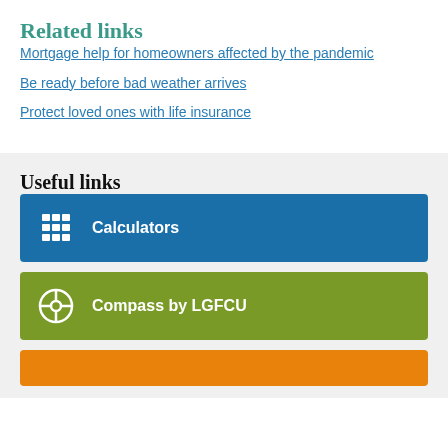Related links
Mortgage help for homeowners affected by the pandemic
Be ready before bad weather arrives
Protect loved ones with life insurance
Useful links
[Figure (screenshot): Blue button with calculator icon and label 'Calculators']
[Figure (screenshot): Green button with compass icon and label 'Compass by LGFCU']
[Figure (screenshot): Orange button partially visible at bottom]